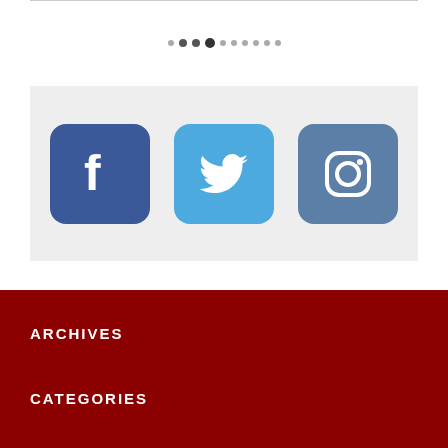[Figure (other): Pagination dots: a row of 10 dots of varying sizes and shades, indicating a carousel position]
[Figure (other): Social media icons: Facebook (dark blue), Twitter (light blue), Instagram (steel blue) in rounded square buttons on a light grey background]
ARCHIVES
CATEGORIES